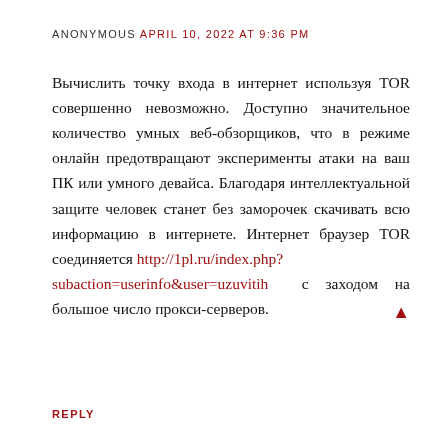ANONYMOUS APRIL 10, 2022 AT 9:36 PM
Вычислить точку входа в интернет используя TOR совершенно невозможно. Доступно значительное количество умных веб-обзорщиков, что в режиме онлайн предотвращают эксперименты атаки на ваш ПК или умного девайса. Благодаря интеллектуальной защите человек станет без заморочек скачивать всю информацию в интернете. Интернет браузер TOR соединяется http://1pl.ru/index.php?subaction=userinfo&user=uzuvitih с заходом на большое число прокси-серверов.
REPLY